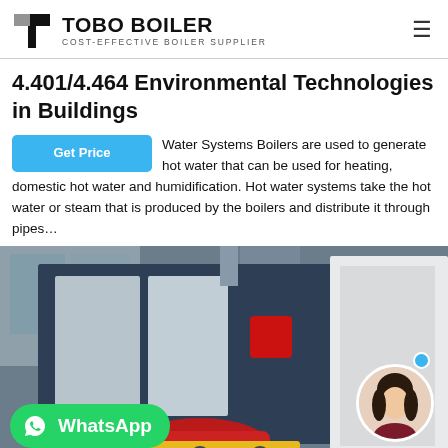TOBO BOILER — COST-EFFECTIVE BOILER SUPPLIER
4.401/4.464 Environmental Technologies in Buildings
Water Systems Boilers are used to generate hot water that can be used for heating, domestic hot water and humidification. Hot water systems take the hot water or steam that is produced by the boilers and distribute it through pipes…
[Figure (photo): Industrial hot water boiler unit in a factory setting, with WhatsApp contact badge and customer service avatar overlay]